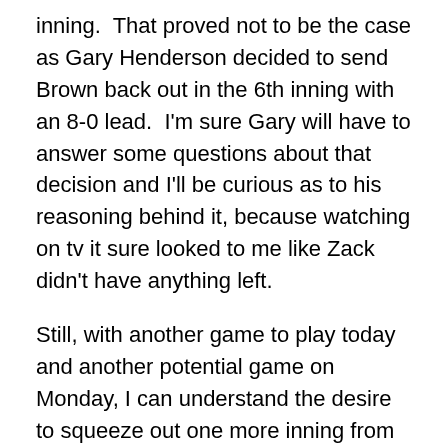inning.  That proved not to be the case as Gary Henderson decided to send Brown back out in the 6th inning with an 8-0 lead.  I'm sure Gary will have to answer some questions about that decision and I'll be curious as to his reasoning behind it, because watching on tv it sure looked to me like Zack didn't have anything left.
Still, with another game to play today and another potential game on Monday, I can understand the desire to squeeze out one more inning from Brown and then let someone from the pen finish the last 3 innings.  That's not how it worked out however, as Zack allowed 4 straight hits to score a run and leave the bases loaded and no one out.  Taylor Martin came in and allowed all 3 inherited runners to score which pegged Brown with 4 runs that he didn't deserve.  By the time